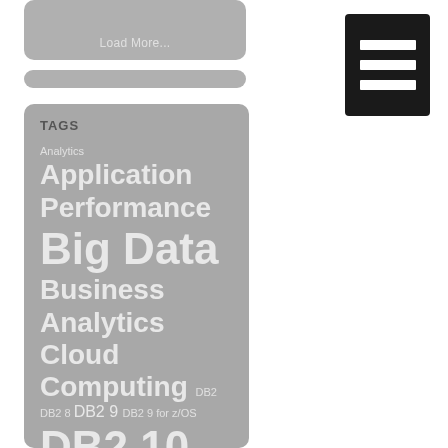[Figure (screenshot): Load More button as a rounded gray rectangle with 'Load More...' text]
[Figure (screenshot): Gray pill/bar UI element]
[Figure (screenshot): Black menu/hamburger icon button with three horizontal white lines]
TAGS
Analytics Application Performance Big Data Business Analytics Cloud Computing DB2 DB2 8 DB2 9 DB2 9 for z/OS DB2 10 DB2 10.5 DB2 11 DB2 CICS DB2 Compression DB2 Database Design DB2 Data Warehouse DB2 Data Warehousing DB2 for z/OS DB2 Index DB2 Java DB2 Java DB2